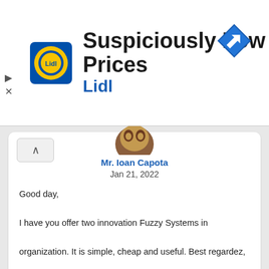[Figure (screenshot): Lidl advertisement banner with logo and text 'Suspiciously Low Prices / Lidl' with a blue navigation arrow icon on the right]
Mr. Ioan Capota
Jan 21, 2022
Good day,

I have you offer two innovation Fuzzy Systems in

organization. It is simple, cheap and useful. Best regardez,

Ioan Capota

Romania

email: ioancapota@yahoo. Ro.
Agree  Disagree  Good  Spam